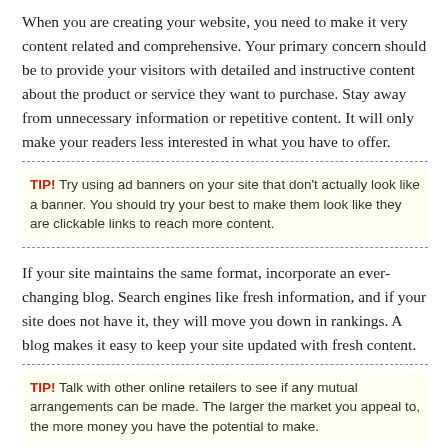When you are creating your website, you need to make it very content related and comprehensive. Your primary concern should be to provide your visitors with detailed and instructive content about the product or service they want to purchase. Stay away from unnecessary information or repetitive content. It will only make your readers less interested in what you have to offer.
TIP! Try using ad banners on your site that don't actually look like a banner. You should try your best to make them look like they are clickable links to reach more content.
If your site maintains the same format, incorporate an ever-changing blog. Search engines like fresh information, and if your site does not have it, they will move you down in rankings. A blog makes it easy to keep your site updated with fresh content.
TIP! Talk with other online retailers to see if any mutual arrangements can be made. The larger the market you appeal to, the more money you have the potential to make.
Utilizing image searches is a great way to increase your success with website marketing. Don't limit your search engine results to only text searches. Your site will show up in more searches, and